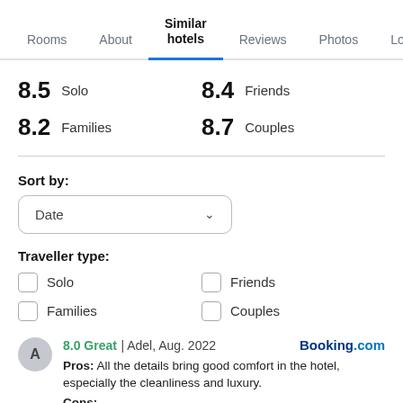Rooms | About | Similar hotels | Reviews | Photos | Loca...
8.5 Solo    8.4 Friends
8.2 Families   8.7 Couples
Sort by:
Date
Traveller type:
Solo
Families
Friends
Couples
8.0 Great | Adel, Aug. 2022   Booking.com
Pros: All the details bring good comfort in the hotel, especially the cleanliness and luxury.
Cons: What the hotel lacks in the checks from minor...